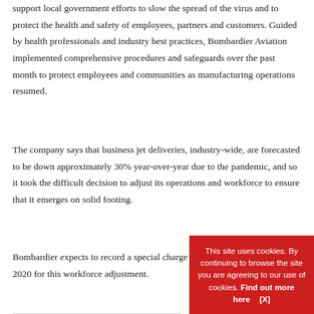support local government efforts to slow the spread of the virus and to protect the health and safety of employees, partners and customers. Guided by health professionals and industry best practices, Bombardier Aviation implemented comprehensive procedures and safeguards over the past month to protect employees and communities as manufacturing operations resumed.
The company says that business jet deliveries, industry-wide, are forecasted to be down approximately 30% year-over-year due to the pandemic, and so it took the difficult decision to adjust its operations and workforce to ensure that it emerges on solid footing.
Bombardier expects to record a special charge of approximately $40m in 2020 for this workforce adjustment.
This site uses cookies. By continuing to browse the site you are agreeing to our use of cookies. Find out more here   [X]